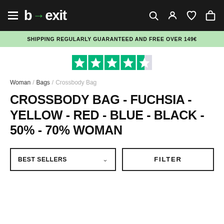b→exit navigation bar with hamburger menu and icons
SHIPPING REGULARLY GUARANTEED AND FREE OVER 149€
[Figure (other): Trustpilot rating stars — 4.5 out of 5 green stars]
Woman / Bags / Crossbody Bag
CROSSBODY BAG - FUCHSIA - YELLOW - RED - BLUE - BLACK - 50% - 70% WOMAN
BEST SELLERS  ∨   FILTER